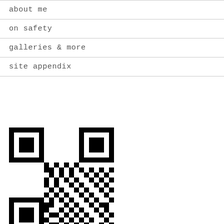about me
on safety
galleries & more
site appendix
[Figure (other): QR code image in black and white]